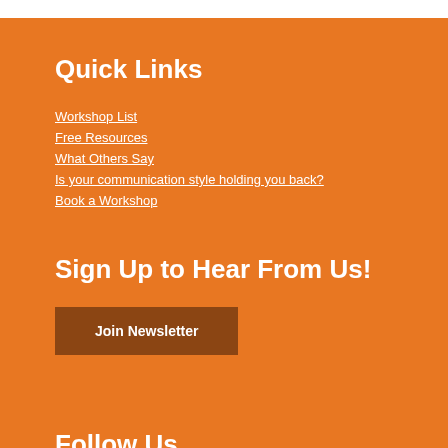Quick Links
Workshop List
Free Resources
What Others Say
Is your communication style holding you back?
Book a Workshop
Sign Up to Hear From Us!
Join Newsletter
Follow Us
[Figure (illustration): Social media icons: Facebook, Twitter, LinkedIn]